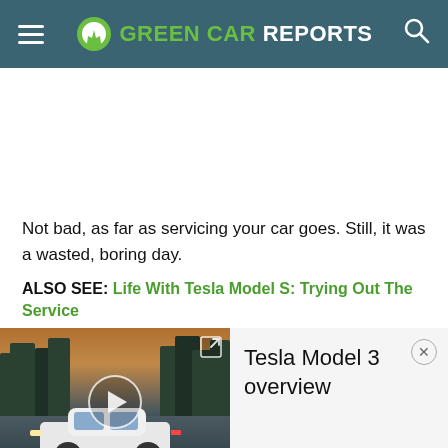GREEN CAR REPORTS
Not bad, as far as servicing your car goes. Still, it was a wasted, boring day.
ALSO SEE: Life With Tesla Model S: Trying Out The Service
[Figure (screenshot): Video thumbnail showing a white Tesla Model 3 driving on a road with trees in background, with a play button overlay and expand icon]
Tesla Model 3 overview